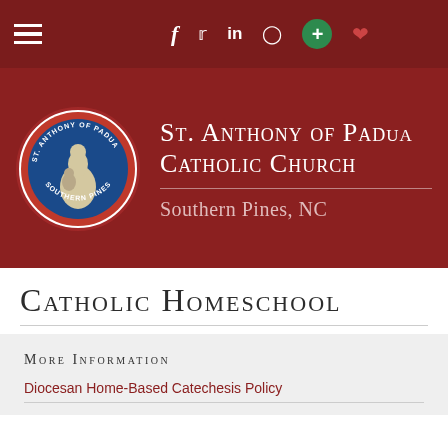Navigation bar with hamburger menu and social icons: f, Twitter, in, Instagram, plus, heart
[Figure (logo): St. Anthony of Padua Catholic Church circular logo with figure and text around border reading ST. ANTHONY OF PADUA SOUTHERN PINES]
St. Anthony of Padua Catholic Church, Southern Pines, NC
CATHOLIC HOMESCHOOL
MORE INFORMATION
Diocesan Home-Based Catechesis Policy